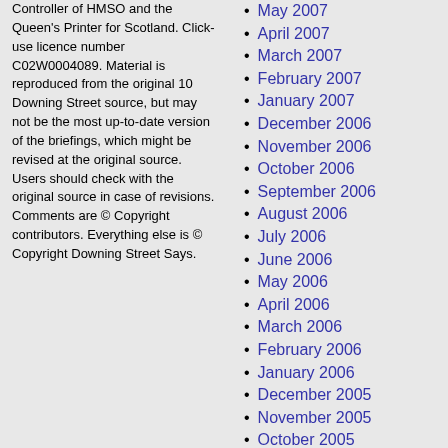Controller of HMSO and the Queen's Printer for Scotland. Click-use licence number C02W0004089. Material is reproduced from the original 10 Downing Street source, but may not be the most up-to-date version of the briefings, which might be revised at the original source. Users should check with the original source in case of revisions. Comments are © Copyright contributors. Everything else is © Copyright Downing Street Says.
May 2007
April 2007
March 2007
February 2007
January 2007
December 2006
November 2006
October 2006
September 2006
August 2006
July 2006
June 2006
May 2006
April 2006
March 2006
February 2006
January 2006
December 2005
November 2005
October 2005
September 2005